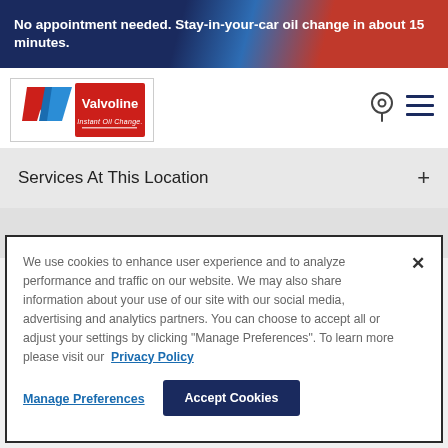No appointment needed. Stay-in-your-car oil change in about 15 minutes.
[Figure (logo): Valvoline Instant Oil Change logo with red V chevron and blue V chevron, red rectangle with white Valvoline text and Instant Oil Change tagline]
Services At This Location
We use cookies to enhance user experience and to analyze performance and traffic on our website. We may also share information about your use of our site with our social media, advertising and analytics partners. You can choose to accept all or adjust your settings by clicking "Manage Preferences". To learn more please visit our Privacy Policy
Manage Preferences
Accept Cookies